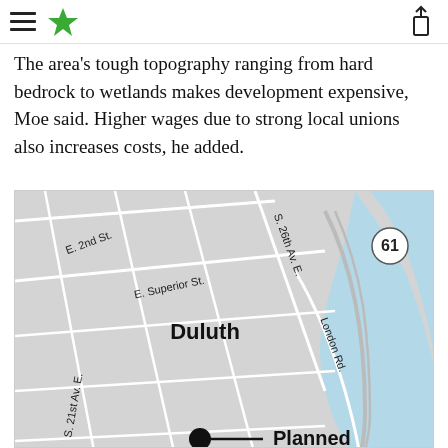Star Tribune navigation header
The area's tough topography ranging from hard bedrock to wetlands makes development expensive, Moe said. Higher wages due to strong local unions also increases costs, he added.
[Figure (map): Street map of Duluth, MN showing E. 2nd St., E. Superior St., S. 26th Av. E., London Rd., S. 21st Av. E., US Highway 61, Lake Superior shoreline, and a marker for a Planned development site.]